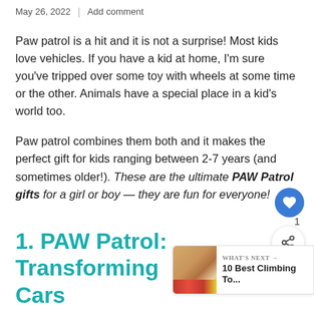May 26, 2022 | Add comment
Paw patrol is a hit and it is not a surprise! Most kids love vehicles. If you have a kid at home, I'm sure you've tripped over some toy with wheels at some time or the other. Animals have a special place in a kid's world too.
Paw patrol combines them both and it makes the perfect gift for kids ranging between 2-7 years (and sometimes older!). These are the ultimate PAW Patrol gifts for a girl or boy — they are fun for everyone!
1. PAW Patrol: Transforming Cars